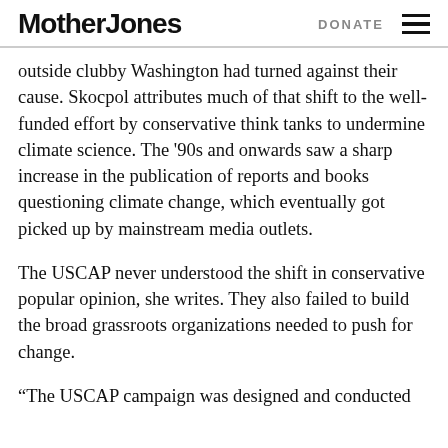Mother Jones | DONATE
outside clubby Washington had turned against their cause. Skocpol attributes much of that shift to the well-funded effort by conservative think tanks to undermine climate science. The ’90s and onwards saw a sharp increase in the publication of reports and books questioning climate change, which eventually got picked up by mainstream media outlets.
The USCAP never understood the shift in conservative popular opinion, she writes. They also failed to build the broad grassroots organizations needed to push for change.
“The USCAP campaign was designed and conducted